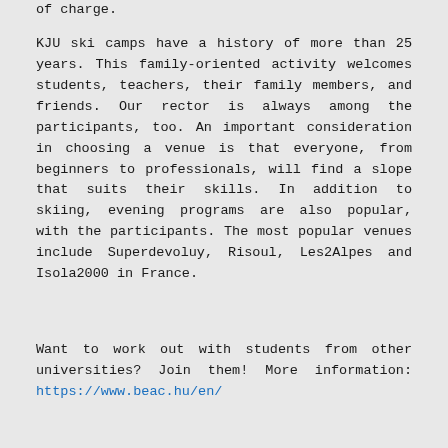of charge.
KJU ski camps have a history of more than 25 years. This family-oriented activity welcomes students, teachers, their family members, and friends. Our rector is always among the participants, too. An important consideration in choosing a venue is that everyone, from beginners to professionals, will find a slope that suits their skills. In addition to skiing, evening programs are also popular, with the participants. The most popular venues include Superdevoluy, Risoul, Les2Alpes and Isola2000 in France.
Want to work out with students from other universities? Join them! More information: https://www.beac.hu/en/